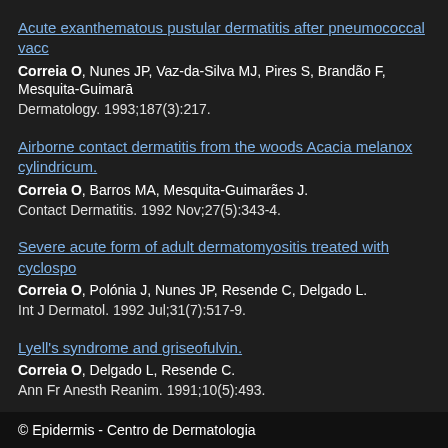Acute exanthematous pustular dermatitis after pneumococcal vaccination. Correia O, Nunes JP, Vaz-da-Silva MJ, Pires S, Brandão F, Mesquita-Guimarães. Dermatology. 1993;187(3):217.
Airborne contact dermatitis from the woods Acacia melanoxylon and cylindricum. Correia O, Barros MA, Mesquita-Guimarães J. Contact Dermatitis. 1992 Nov;27(5):343-4.
Severe acute form of adult dermatomyositis treated with cyclosporin. Correia O, Polónia J, Nunes JP, Resende C, Delgado L. Int J Dermatol. 1992 Jul;31(7):517-9.
Lyell's syndrome and griseofulvin. Correia O, Delgado L, Resende C. Ann Fr Anesth Reanim. 1991;10(5):493.
© Epidermis - Centro de Dermatologia